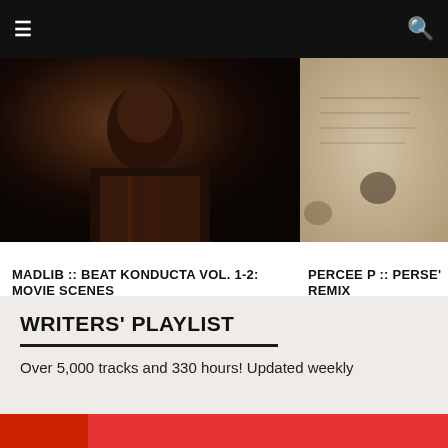☰  [navigation]  🔍
[Figure (photo): Close-up photo of a person in a flannel shirt, side profile, dark background]
[Figure (photo): Aged paper or old document with handwriting, sepia tones]
MADLIB :: BEAT KONDUCTA VOL. 1-2: MOVIE SCENES
MATT JOST × FEBRUARY 20, 2007
PERCEE P :: PERSE'VERANCE REMIX
PATRICK TAYLOR × FE
WRITERS' PLAYLIST
Over 5,000 tracks and 330 hours! Updated weekly